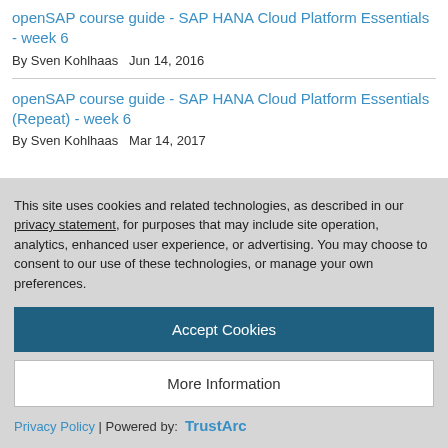openSAP course guide - SAP HANA Cloud Platform Essentials - week 6
By Sven Kohlhaas   Jun 14, 2016
openSAP course guide - SAP HANA Cloud Platform Essentials (Repeat) - week 6
By Sven Kohlhaas   Mar 14, 2017
Related Questions
This site uses cookies and related technologies, as described in our privacy statement, for purposes that may include site operation, analytics, enhanced user experience, or advertising. You may choose to consent to our use of these technologies, or manage your own preferences.
Accept Cookies
More Information
Privacy Policy | Powered by:  TrustArc
By Alessandro Pedasma   Sep 05, 2018